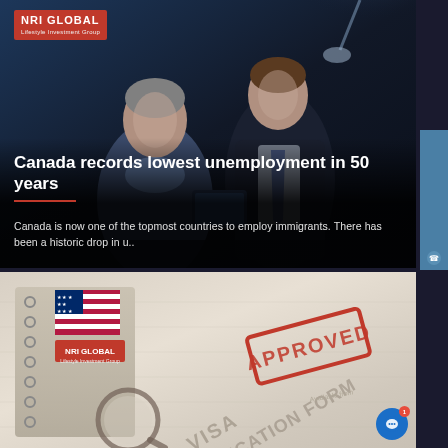[Figure (photo): Two businessmen in dark setting looking at a document or device, with NRI Global logo overlay at top-left. Dark blue/navy background.]
Canada records lowest unemployment in 50 years
Canada is now one of the topmost countries to employ immigrants. There has been a historic drop in u..
[Figure (photo): Visa application form with APPROVED stamp in red, magnifying glass, notebook with NRI Global logo, American flag element. Background is beige/tan paper texture.]
FREE CONSULTATION